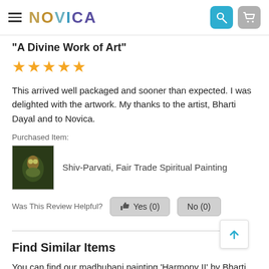NOVICA
"A Divine Work of Art"
★★★★★
This arrived well packaged and sooner than expected. I was delighted with the artwork. My thanks to the artist, Bharti Dayal and to Novica.
Purchased Item:
Shiv-Parvati, Fair Trade Spiritual Painting
Was This Review Helpful?  Yes (0)  No (0)
Find Similar Items
You can find our madhubani painting 'Harmony II' by Bharti Dayal